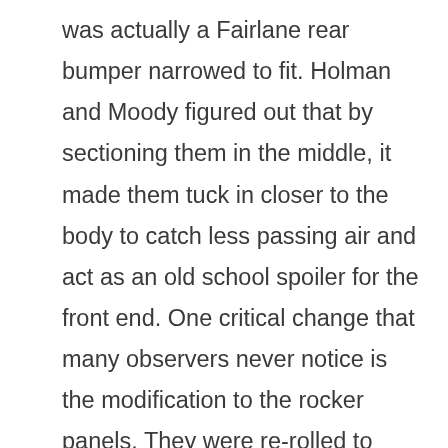was actually a Fairlane rear bumper narrowed to fit. Holman and Moody figured out that by sectioning them in the middle, it made them tuck in closer to the body to catch less passing air and act as an old school spoiler for the front end. One critical change that many observers never notice is the modification to the rocker panels. They were re-rolled to provide a shallower rocker panel. To determine how low a car could be during the race track inspection process, NASCAR measured the rocker panels from the bottom edge. Due to the re-rolled rocker panels these cars could now sit 1"